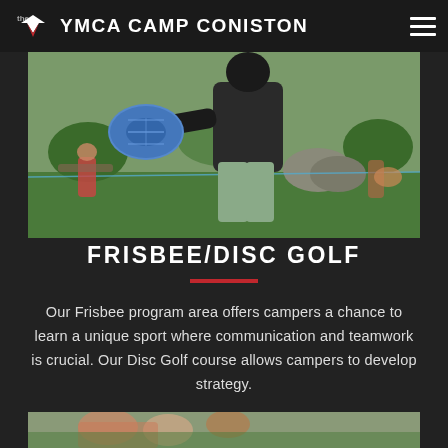YMCA CAMP CONISTON
[Figure (photo): Camper holding a blue frisbee disc outdoors on grass, other campers visible in background near rocks and trees]
FRISBEE/DISC GOLF
Our Frisbee program area offers campers a chance to learn a unique sport where communication and teamwork is crucial. Our Disc Golf course allows campers to develop strategy.
[Figure (photo): Bottom portion of another camp photo visible at the bottom of the page]